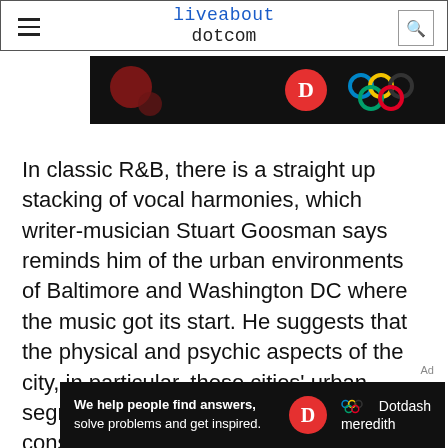liveabout dotcom
[Figure (screenshot): Top ad banner with dark background showing partial Dotdash Meredith branding with Olympic rings and red circular logo]
In classic R&B, there is a straight up stacking of vocal harmonies, which writer-musician Stuart Goosman says reminds him of the urban environments of Baltimore and Washington DC where the music got its start. He suggests that the physical and psychic aspects of the city, in particular, those cities' urban segregation, helped shape the consciousness of the musicians, who freed themselves through the limitlessness of
[Figure (screenshot): Bottom ad banner: 'We help people find answers, solve problems and get inspired.' with Dotdash Meredith logo]